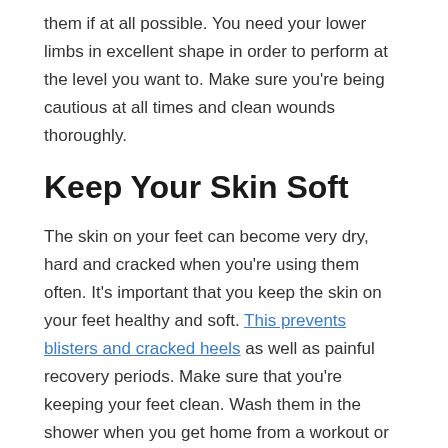them if at all possible. You need your lower limbs in excellent shape in order to perform at the level you want to. Make sure you're being cautious at all times and clean wounds thoroughly.
Keep Your Skin Soft
The skin on your feet can become very dry, hard and cracked when you're using them often. It's important that you keep the skin on your feet healthy and soft. This prevents blisters and cracked heels as well as painful recovery periods. Make sure that you're keeping your feet clean. Wash them in the shower when you get home from a workout or run. At night, apply a thick coating of lotion and put socks on your feet. This will help keep skin soft and supple.
If you are accustomed to using your feet on a daily basis for running, playing or working out, make sure that you know the right and wrong ways to take care of your feet. You don't want to